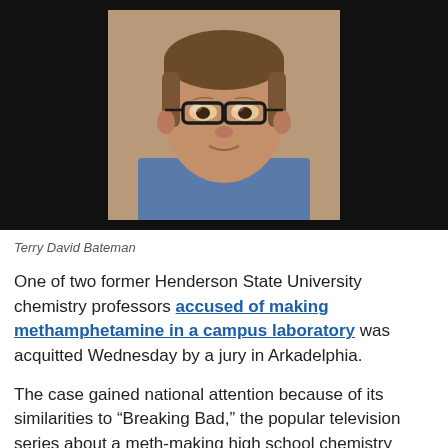[Figure (photo): Mugshot-style photo of Terry David Bateman, a middle-aged white man with short brown hair wearing glasses and a blue shirt, photographed against a neutral background. The photo is centered on a black background banner.]
Terry David Bateman
One of two former Henderson State University chemistry professors accused of making methamphetamine in a campus laboratory was acquitted Wednesday by a jury in Arkadelphia.
The case gained national attention because of its similarities to “Breaking Bad,” the popular television series about a meth-making high school chemistry